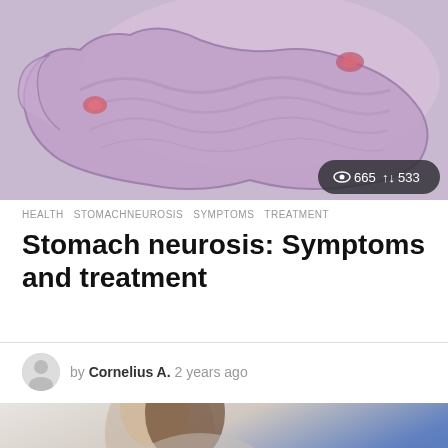[Figure (illustration): Medical illustration of stomach anatomy showing cross-section with pink/purple tones, with two reddish lesion spots visible on stomach lining. Stats badge shows 665 views and 533 shares.]
HEALTH   STOMACHNEUROSIS   SYMPTOMS   TREATMENT
Stomach neurosis: Symptoms and treatment
by Cornelius A. 2 years ago
[Figure (photo): Close-up photo of a woman with dark hair wearing a blue top, touching her shoulder, suggesting pain or discomfort. A yellow scroll-to-top button is visible in the bottom right corner.]